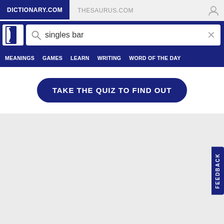DICTIONARY.COM
THESAURUS.COM
singles bar
MEANINGS  GAMES  LEARN  WRITING  WORD OF THE DAY
TAKE THE QUIZ TO FIND OUT
FEEDBACK